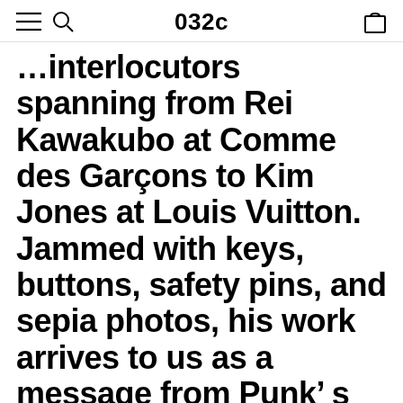032c
...interlocutors spanning from Rei Kawakubo at Comme des Garçons to Kim Jones at Louis Vuitton. Jammed with keys, buttons, safety pins, and sepia photos, his work arrives to us as a message from Punk’ s baroque period, entwining tropes of youth subculture and found objects into fashion shoots, collages, and accessories.